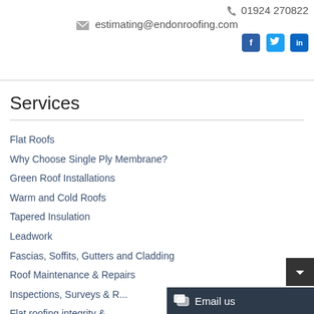📞 01924 270822
✉ estimating@endonroofing.com
Flat Roofs
Why Choose Single Ply Membrane?
Green Roof Installations
Warm and Cold Roofs
Tapered Insulation
Leadwork
Fascias, Soffits, Gutters and Cladding
Roof Maintenance & Repairs
Inspections, Surveys & R...
Flat roofing integrity & ...